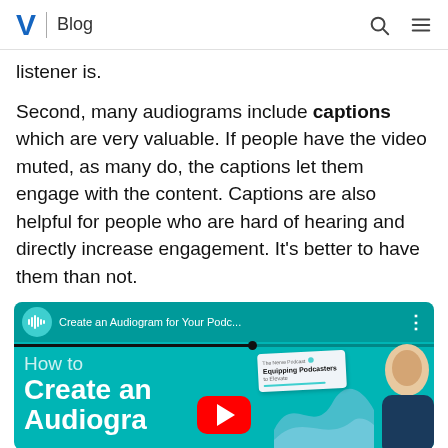V | Blog
listener is.
Second, many audiograms include captions which are very valuable. If people have the video muted, as many do, the captions let them engage with the content. Captions are also helpful for people who are hard of hearing and directly increase engagement. It's better to have them than not.
[Figure (screenshot): YouTube video thumbnail for 'Create an Audiogram for Your Podc...' showing a teal background with 'How to Create an Audiogra...' text overlay, a podcast card graphic, a person's face on the right, and a YouTube play button in the center.]